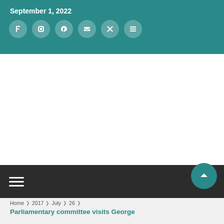September 1, 2022
[Figure (other): Six teal circular social media icon buttons in a row on the teal header bar]
[Figure (other): Dark navigation bar with hamburger menu icon (three horizontal lines) on the left, and a teal circular scroll-to-top arrow button on the right]
Home › 2017 › July › 26 ›
Parliamentary committee visits George